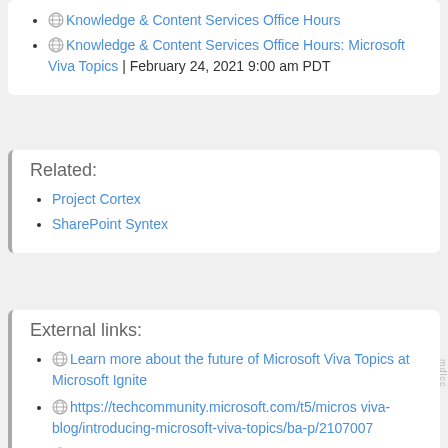Knowledge & Content Services Office Hours
Knowledge & Content Services Office Hours: Microsoft Viva Topics | February 24, 2021 9:00 am PDT
Related:
Project Cortex
SharePoint Syntex
External links:
Learn more about the future of Microsoft Viva Topics at Microsoft Ignite
https://techcommunity.microsoft.com/t5/micros viva-blog/introducing-microsoft-viva-topics/ba-p/2107007
https://www.microsoft.com/en-us/microsoft-365/blog/2021/02/24/microsoft...